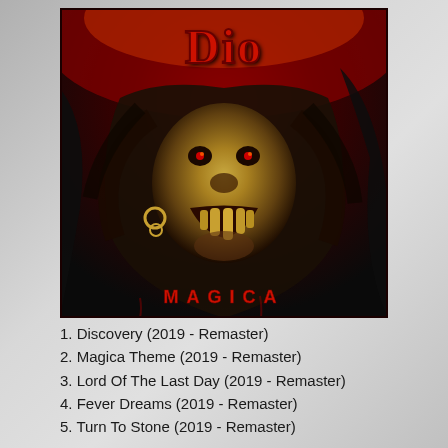[Figure (illustration): Dio - Magica album cover art showing a demonic creature with fangs and the DIO logo in red text at top, MAGICA text in red at bottom]
1. Discovery (2019 - Remaster)
2. Magica Theme (2019 - Remaster)
3. Lord Of The Last Day (2019 - Remaster)
4. Fever Dreams (2019 - Remaster)
5. Turn To Stone (2019 - Remaster)